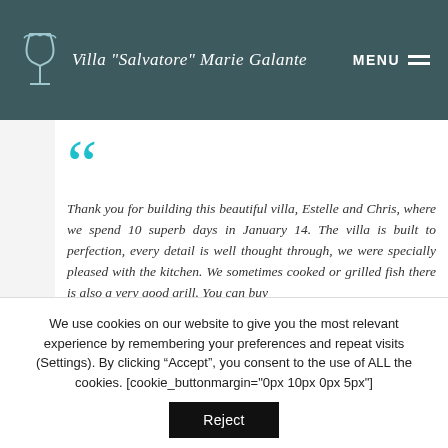Villa "Salvatore" Marie Galante — MENU
Thank you for building this beautiful villa, Estelle and Chris, where we spend 10 superb days in January 14. The villa is built to perfection, every detail is well thought through, we were specially pleased with the kitchen. We sometimes cooked or grilled fish there is also a very good grill. You can buy
We use cookies on our website to give you the most relevant experience by remembering your preferences and repeat visits (Settings). By clicking “Accept”, you consent to the use of ALL the cookies. [cookie_buttonmargin="0px 10px 0px 5px"]
Reject